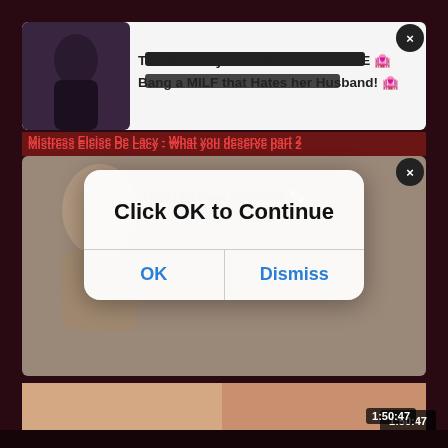[Figure (screenshot): Adult website screenshot showing pop-up ads and video thumbnails with a modal dialog overlay reading 'Click OK to Continue' with OK and Dismiss buttons]
Text a Lonely MOM & Fuck for FREE 🏩
Bang a MILF that Hates her Husband! 🏩
Mistress Eleise De Lacy – What you deserve part 2
Hookups Near Ashburn? 🍬
Get laid tonight 💋
Click OK to Continue
OK
Dismiss
1:50:47